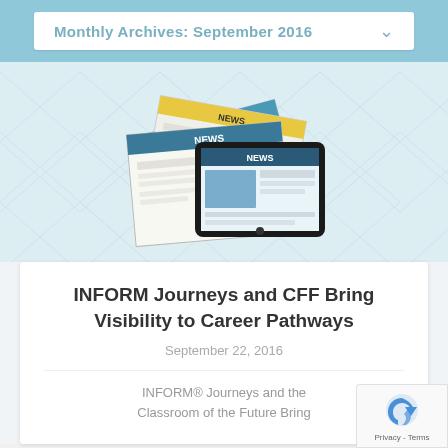Monthly Archives: September 2016
[Figure (photo): Stack of newspapers and a tablet displaying NEWS, with decorative diamond pattern background]
INFORM Journeys and CFF Bring Visibility to Career Pathways
September 22, 2016
INFORM® Journeys and the Classroom of the Future Bring